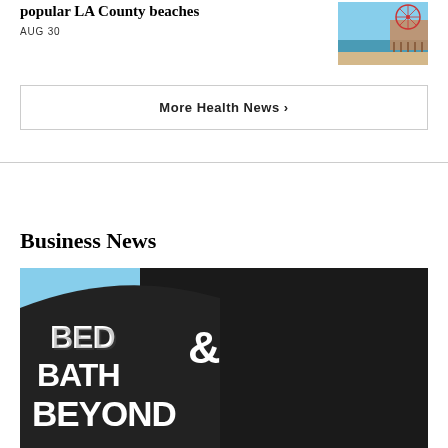popular LA County beaches
AUG 30
[Figure (photo): Santa Monica pier with ferris wheel and beach shoreline]
More Health News ›
Business News
[Figure (photo): Bed Bath & Beyond store exterior with large illuminated sign on dark building]